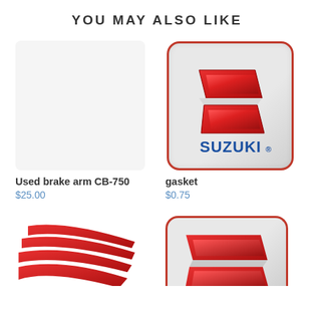YOU MAY ALSO LIKE
Used brake arm CB-750
$25.00
[Figure (logo): Suzuki logo on rounded square badge with red border and gradient background]
gasket
$0.75
[Figure (logo): Honda wing logo, partially visible, red wings on white]
[Figure (logo): Suzuki logo on rounded square badge, partially visible at bottom]